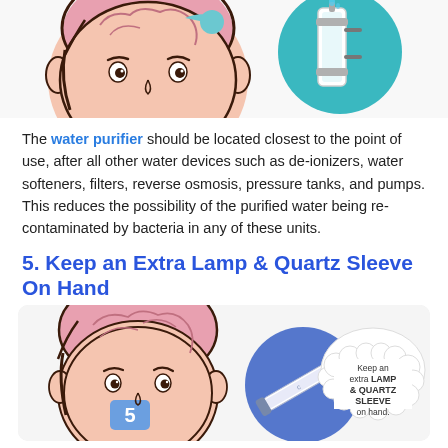[Figure (illustration): Top illustration showing a cartoon face with brain and a water purifier device on teal background]
The water purifier should be located closest to the point of use, after all other water devices such as de-ionizers, water softeners, filters, reverse osmosis, pressure tanks, and pumps. This reduces the possibility of the purified water being re-contaminated by bacteria in any of these units.
5. Keep an Extra Lamp & Quartz Sleeve On Hand
[Figure (illustration): Bottom illustration showing cartoon face with number 5 label and a UV lamp with thought bubble saying Keep an extra LAMP & QUARTZ SLEEVE on hand.]